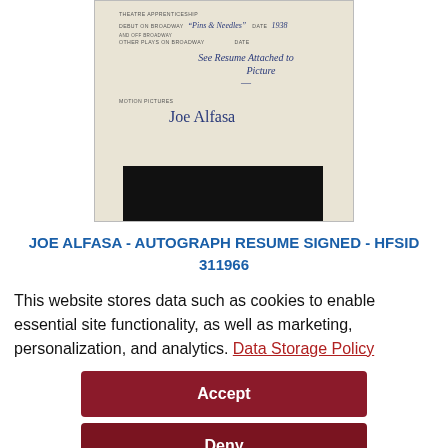[Figure (photo): Scanned document showing a theatre apprenticeship form with handwritten entries: debut on Broadway 'Pins & Needles' date 1938, with a note 'See Resume Attached to Picture', and a section for Motion Pictures with a signature. A black redaction bar covers the bottom portion.]
JOE ALFASA - AUTOGRAPH RESUME SIGNED - HFSID 311966
This website stores data such as cookies to enable essential site functionality, as well as marketing, personalization, and analytics. Data Storage Policy
Accept
Deny